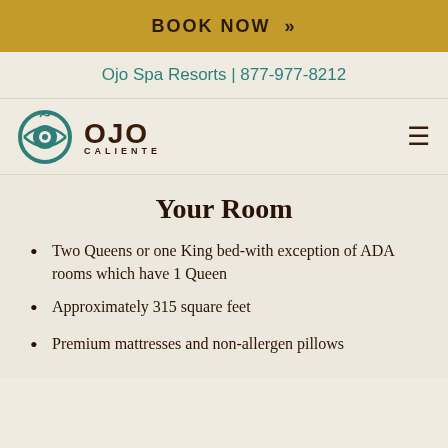BOOK NOW »
Ojo Spa Resorts | 877-977-8212
[Figure (logo): Ojo Caliente logo with teal eye icon and dark brown text reading OJO CALIENTE]
Your Room
Two Queens or one King bed-with exception of ADA rooms which have 1 Queen
Approximately 315 square feet
Premium mattresses and non-allergen pillows